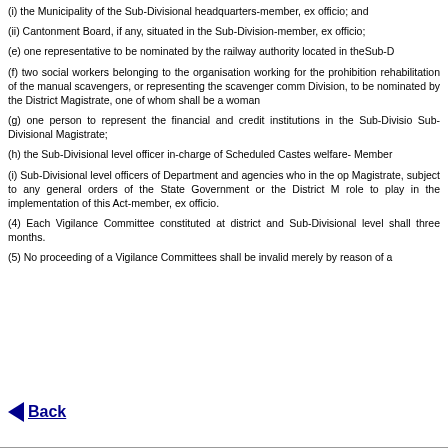(i) the Municipality of the Sub-Divisional headquarters-member, ex officio; and
(ii) Cantonment Board, if any, situated in the Sub-Division-member, ex officio;
(e) one representative to be nominated by the railway authority located in the Sub-D
(f) two social workers belonging to the organisation working for the prohibition rehabilitation of the manual scavengers, or representing the scavenger comm Division, to be nominated by the District Magistrate, one of whom shall be a woman
(g) one person to represent the financial and credit institutions in the Sub-Divisio Sub-Divisional Magistrate;
(h) the Sub-Divisional level officer in-charge of Scheduled Castes welfare- Member
(i) Sub-Divisional level officers of Department and agencies who in the op Magistrate, subject to any general orders of the State Government or the District M role to play in the implementation of this Act-member, ex officio.
(4) Each Vigilance Committee constituted at district and Sub-Divisional level shall three months.
(5) No proceeding of a Vigilance Committees shall be invalid merely by reason of a
Back